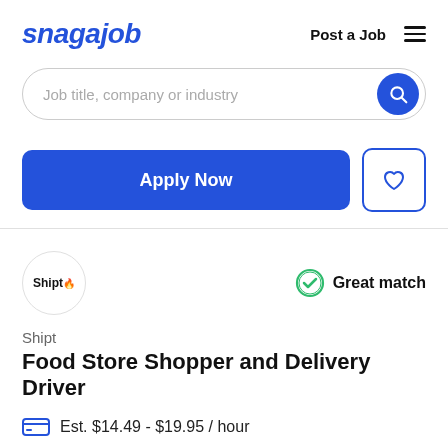snagajob  Post a Job  ☰
Job title, company or industry
Apply Now
Shipt  Great match
Shipt
Food Store Shopper and Delivery Driver
Est. $14.49 - $19.95 / hour